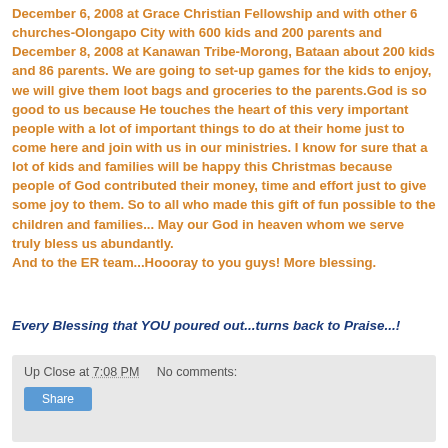December 6, 2008 at Grace Christian Fellowship and with other 6 churches-Olongapo City with 600 kids and 200 parents and December 8, 2008 at Kanawan Tribe-Morong, Bataan about 200 kids and 86 parents. We are going to set-up games for the kids to enjoy, we will give them loot bags and groceries to the parents.God is so good to us because He touches the heart of this very important people with a lot of important things to do at their home just to come here and join with us in our ministries. I know for sure that a lot of kids and families will be happy this Christmas because people of God contributed their money, time and effort just to give some joy to them. So to all who made this gift of fun possible to the children and families... May our God in heaven whom we serve truly bless us abundantly. And to the ER team...Hoooray to you guys! More blessing.
Every Blessing that YOU poured out...turns back to Praise...!
Up Close at 7:08 PM   No comments: